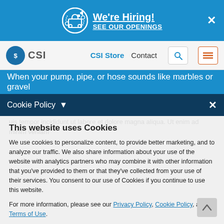[Figure (screenshot): We're Hiring! SEE OUR OPENINGS banner with briefcase icon and close button]
[Figure (screenshot): CSI navigation bar with logo, CSI Store, Contact, search and menu buttons]
When your pump, pipe, or hose sounds like marbles or gravel
Cookie Policy
This website uses Cookies
We use cookies to personalize content, to provide better marketing, and to analyze our traffic. We also share information about your use of the website with analytics partners who may combine it with other information that you've provided to them or that they've collected from your use of their services. You consent to our use of Cookies if you continue to use this website.
For more information, please see our Privacy Policy, Cookie Policy, and Terms of Use.
Accept all cookies